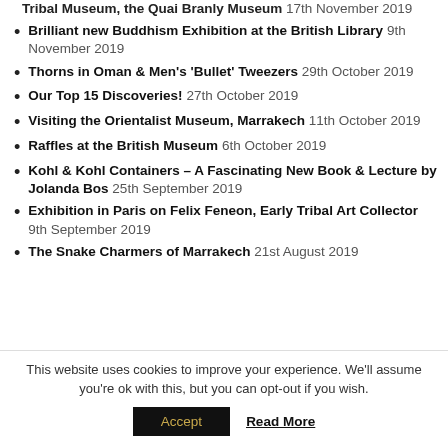Tribal Museum, the Quai Branly Museum 17th November 2019
Brilliant new Buddhism Exhibition at the British Library 9th November 2019
Thorns in Oman & Men's 'Bullet' Tweezers 29th October 2019
Our Top 15 Discoveries! 27th October 2019
Visiting the Orientalist Museum, Marrakech 11th October 2019
Raffles at the British Museum 6th October 2019
Kohl & Kohl Containers – A Fascinating New Book & Lecture by Jolanda Bos 25th September 2019
Exhibition in Paris on Felix Feneon, Early Tribal Art Collector 9th September 2019
The Snake Charmers of Marrakech 21st August 2019
This website uses cookies to improve your experience. We'll assume you're ok with this, but you can opt-out if you wish.
Accept  Read More